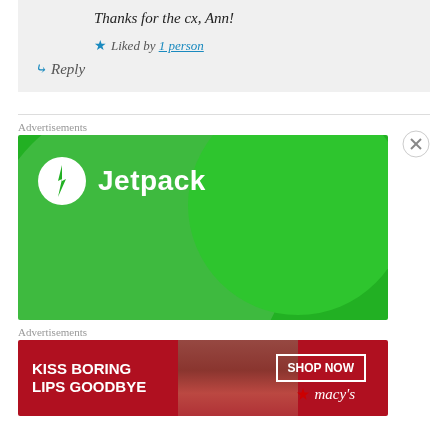Thanks for the cx, Ann!
Liked by 1 person
Reply
Advertisements
[Figure (logo): Jetpack advertisement banner with green background and Jetpack logo]
Advertisements
[Figure (photo): Macy's advertisement: KISS BORING LIPS GOODBYE with SHOP NOW button and macy's branding]